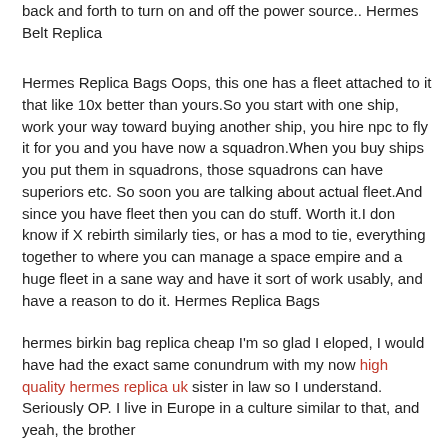back and forth to turn on and off the power source.. Hermes Belt Replica
Hermes Replica Bags Oops, this one has a fleet attached to it that like 10x better than yours.So you start with one ship, work your way toward buying another ship, you hire npc to fly it for you and you have now a squadron.When you buy ships you put them in squadrons, those squadrons can have superiors etc. So soon you are talking about actual fleet.And since you have fleet then you can do stuff. Worth it.I don know if X rebirth similarly ties, or has a mod to tie, everything together to where you can manage a space empire and a huge fleet in a sane way and have it sort of work usably, and have a reason to do it. Hermes Replica Bags
hermes birkin bag replica cheap I'm so glad I eloped, I would have had the exact same conundrum with my now high quality hermes replica uk sister in law so I understand. Seriously OP. I live in Europe in a culture similar to that, and yeah, the brother